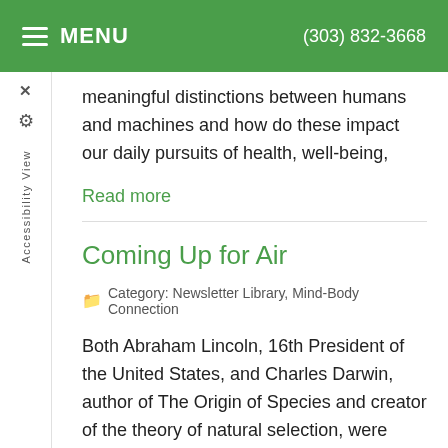MENU  (303) 832-3668
meaningful distinctions between humans and machines and how do these impact our daily pursuits of health, well-being,
Read more
Coming Up for Air
Category: Newsletter Library, Mind-Body Connection
Both Abraham Lincoln, 16th President of the United States, and Charles Darwin, author of The Origin of Species and creator of the theory of natural selection, were born on February 12, 1809. Modern evolutionary theory, of course, is based on Darwin's